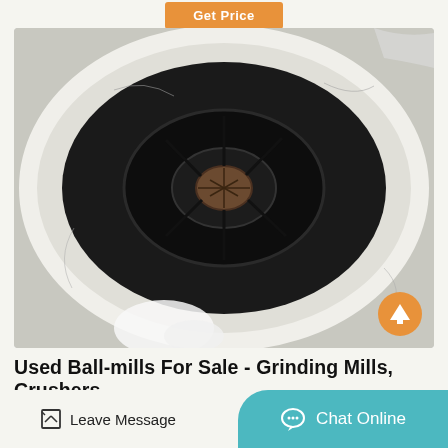Get Price
[Figure (photo): Interior view of a ball mill drum showing the central metal hub with spokes/ribs and the circular grinding chamber interior, viewed from the open end. The outer ring appears light grey/white with dust/residue, the inner chamber is dark black.]
Used Ball-mills For Sale - Grinding Mills, Crushers
Leave Message
Chat Online